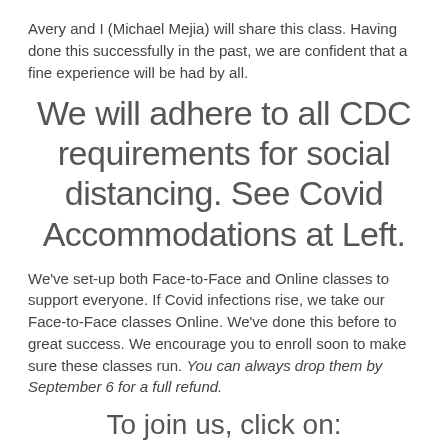Avery and I (Michael Mejia) will share this class. Having done this successfully in the past, we are confident that a fine experience will be had by all.
We will adhere to all CDC requirements for social distancing. See Covid Accommodations at Left.
We've set-up both Face-to-Face and Online classes to support everyone. If Covid infections rise, we take our Face-to-Face classes Online. We've done this before to great success. We encourage you to enroll soon to make sure these classes run. You can always drop them by September 6 for a full refund.
To join us, click on: